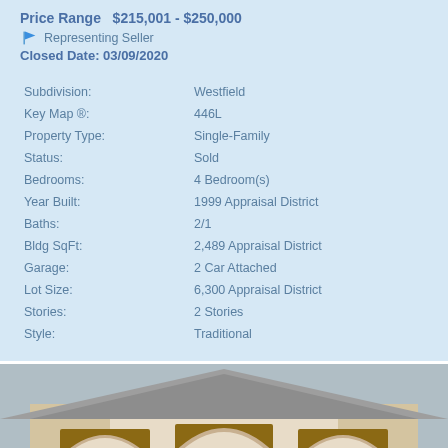Price Range   $215,001 - $250,000
Representing Seller
Closed Date: 03/09/2020
| Field | Value |
| --- | --- |
| Subdivision: | Westfield |
| Key Map ®: | 446L |
| Property Type: | Single-Family |
| Status: | Sold |
| Bedrooms: | 4 Bedroom(s) |
| Year Built: | 1999 Appraisal District |
| Baths: | 2/1 |
| Bldg SqFt: | 2,489 Appraisal District |
| Garage: | 2 Car Attached |
| Lot Size: | 6,300 Appraisal District |
| Stories: | 2 Stories |
| Style: | Traditional |
[Figure (photo): Exterior front view of a traditional single-family home with arched entryways, brick facade, and lantern-style light fixtures]